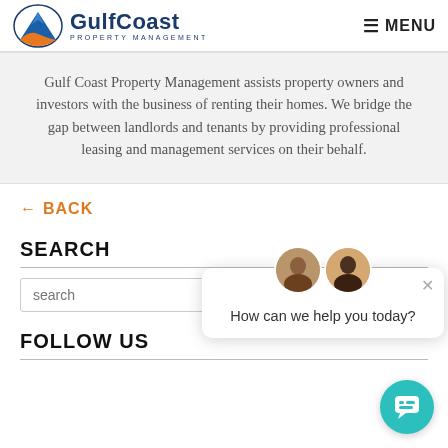Gulf Coast Property Management — MENU
Gulf Coast Property Management assists property owners and investors with the business of renting their homes. We bridge the gap between landlords and tenants by providing professional leasing and management services on their behalf.
← BACK
SEARCH
FOLLOW US
[Figure (screenshot): Chat widget popup with two staff avatars and the message 'How can we help you today?' with a close button, and a teal chat button in the lower right corner.]